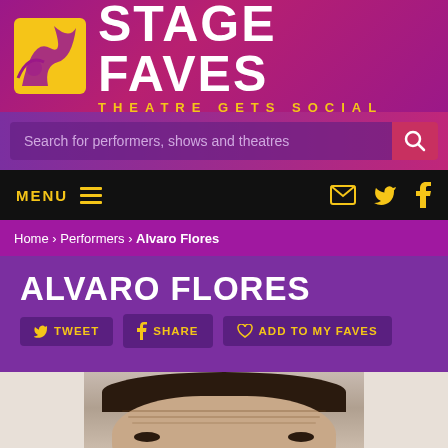STAGE FAVES — THEATRE GETS SOCIAL
Search for performers, shows and theatres
MENU
Home › Performers › Alvaro Flores
ALVARO FLORES
TWEET
SHARE
ADD TO MY FAVES
[Figure (photo): Headshot photo of Alvaro Flores, a man with dark short hair, visible forehead wrinkles, looking forward]